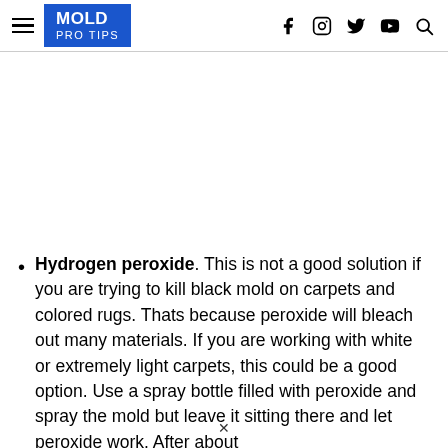MOLD PRO TIPS
Hydrogen peroxide. This is not a good solution if you are trying to kill black mold on carpets and colored rugs. Thats because peroxide will bleach out many materials. If you are working with white or extremely light carpets, this could be a good option. Use a spray bottle filled with peroxide and spray the mold but leave it sitting there and let peroxide work. After about...